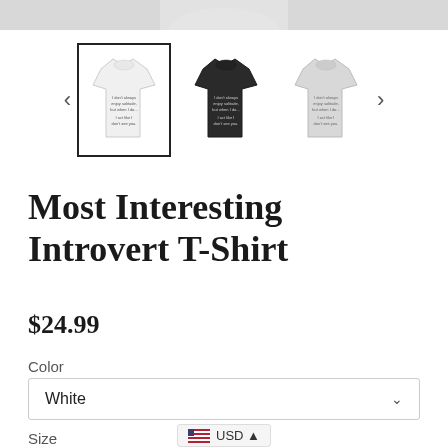[Figure (photo): Top portion of a product image, cropped at top edge]
[Figure (photo): Three t-shirt thumbnail images: white (selected, with border), dark/black, and light gray. Navigation arrows on left and right.]
Most Interesting Introvert T-Shirt
$24.99
Color
White
USD
Size